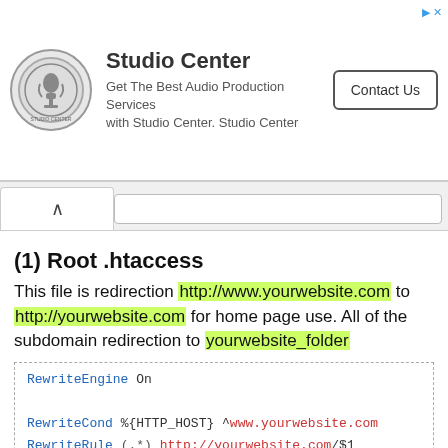[Figure (other): Studio Center advertisement banner with circular logo, title 'Studio Center', subtitle 'Get The Best Audio Production Services with Studio Center. Studio Center', and a 'Contact Us' button]
(1) Root .htaccess
This file is redirection http://www.yourwebsite.com to http://yourwebsite.com for home page use. All of the subdomain redirection to yourwebsite_folder
RewriteEngine On

RewriteCond %{HTTP_HOST} ^www.yourwebsite.com
RewriteRule (.*) http://yourwebsite.com/$1
[R=301,L]

RewriteCond %{HTTP_HOST} ^yourwebsite\.com $
RewriteCond %{REQUEST_URI}